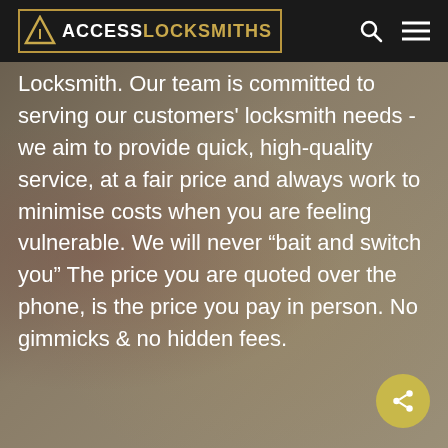ACCESS LOCKSMITHS
Locksmith. Our team is committed to serving our customers' locksmith needs - we aim to provide quick, high-quality service, at a fair price and always work to minimise costs when you are feeling vulnerable. We will never “bait and switch you” The price you are quoted over the phone, is the price you pay in person. No gimmicks & no hidden fees.